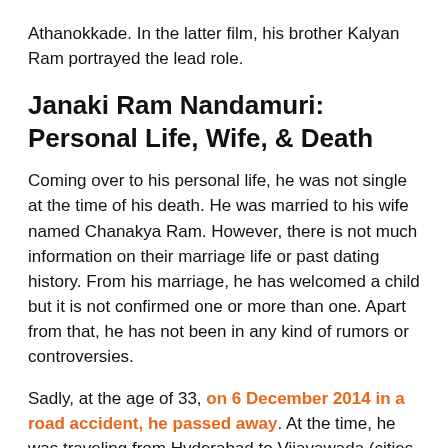Athanokkade. In the latter film, his brother Kalyan Ram portrayed the lead role.
Janaki Ram Nandamuri: Personal Life, Wife, & Death
Coming over to his personal life, he was not single at the time of his death. He was married to his wife named Chanakya Ram. However, there is not much information on their marriage life or past dating history. From his marriage, he has welcomed a child but it is not confirmed one or more than one. Apart from that, he has not been in any kind of rumors or controversies.
Sadly, at the age of 33, on 6 December 2014 in a road accident, he passed away. At the time, he was traveling from Hyderabad to Vijayawada (cities in South India). The incident happened when he